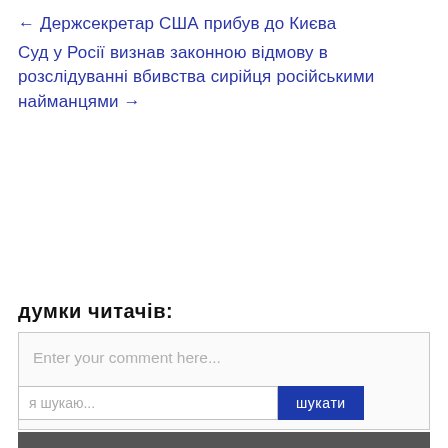← Держсекретар США прибув до Києва
Суд у Росії визнав законною відмову в розслідуванні вбивства сирійця російськими найманцями →
думки читачів:
Enter your comment here...
я шукаю...
шукати
[Figure (photo): Partial photo strip at bottom of page]